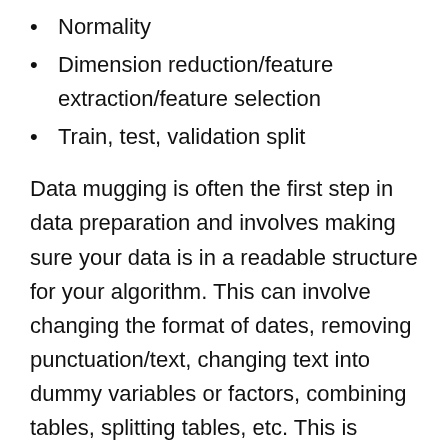Normality
Dimension reduction/feature extraction/feature selection
Train, test, validation split
Data mugging is often the first step in data preparation and involves making sure your data is in a readable structure for your algorithm. This can involve changing the format of dates, removing punctuation/text, changing text into dummy variables or factors, combining tables, splitting tables, etc. This is probably the hardest and most unclear aspect of data science because the problems you will face will be highly unique to the data you are working with.